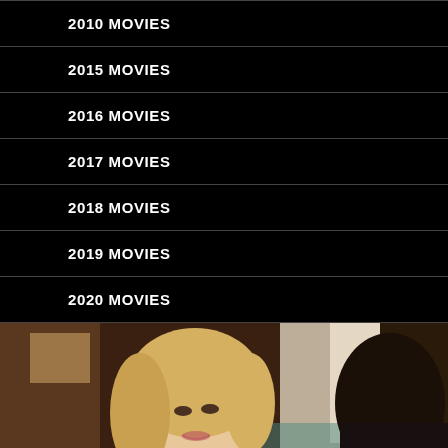2010 MOVIES
2015 MOVIES
2016 MOVIES
2017 MOVIES
2018 MOVIES
2019 MOVIES
2020 MOVIES
[Figure (photo): A blonde woman in a leopard-print top looks warmly toward the right, while a dark-haired person in dark clothing is seen from behind on the right side. The scene appears to be set inside a cafe or restaurant with warm-toned decor in the background.]